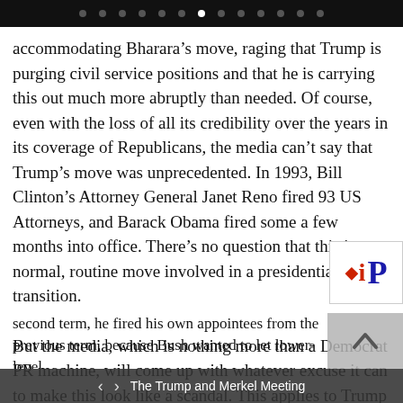Navigation dots bar
accommodating Bharara’s move, raging that Trump is purging civil service positions and that he is carrying this out much more abruptly than needed. Of course, even with the loss of all its credibility over the years in its coverage of Republicans, the media can’t say that Trump’s move was unprecedented. In 1993, Bill Clinton’s Attorney General Janet Reno fired 93 US Attorneys, and Barack Obama fired some a few months into office. There’s no question that this is a normal, routine move involved in a presidential transition.

But the media, which is nothing more than a Democrat PR machine, will come up with whatever excuse it can to make this look like a scandal. This applies to Trump or any Republican. For example, during George W. Bush’s second term, he fired his own appointees from the previous term, because Bush wanted to let lower-level
[Figure (logo): iP logo with flame icon, red and blue letters]
The Trump and Merkel Meeting